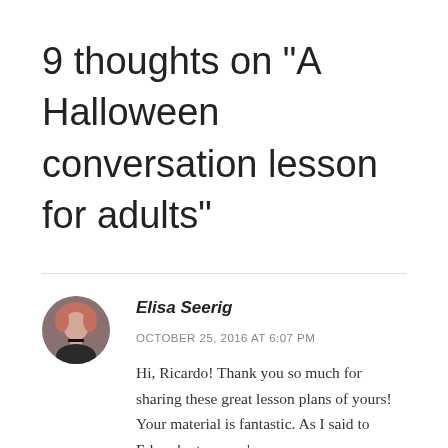9 thoughts on “A Halloween conversation lesson for adults”
Elisa Seerig
OCTOBER 25, 2016 AT 6:07 PM
Hi, Ricardo! Thank you so much for sharing these great lesson plans of yours! Your material is fantastic. As I said to Eduardo, too, you’re a